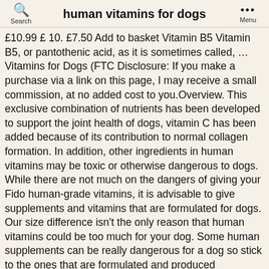human vitamins for dogs
£10.99 £ 10. £7.50 Add to basket Vitamin B5 Vitamin B5, or pantothenic acid, as it is sometimes called, … Vitamins for Dogs (FTC Disclosure: If you make a purchase via a link on this page, I may receive a small commission, at no added cost to you.Overview. This exclusive combination of nutrients has been developed to support the joint health of dogs, vitamin C has been added because of its contribution to normal collagen formation. In addition, other ingredients in human vitamins may be toxic or otherwise dangerous to dogs. While there are not much on the dangers of giving your Fido human-grade vitamins, it is advisable to give supplements and vitamins that are formulated for dogs. Our size difference isn't the only reason that human vitamins could be too much for your dog. Some human supplements can be really dangerous for a dog so stick to the ones that are formulated and produced specifically for dogs. 7 Reasons to Give Your Dog Supplements 7 Tips for Choosing a Quality Dog Food Milk Thistle for Dogs. You can administer human